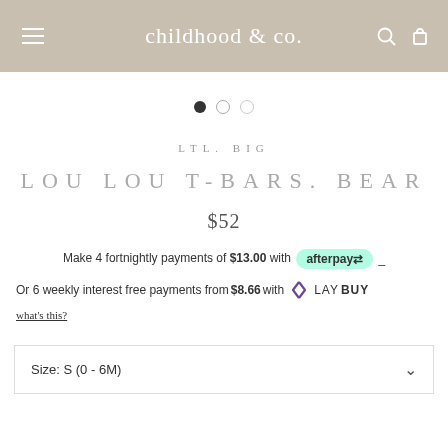childhood & co.
[Figure (other): Carousel navigation dots: one filled black dot, two empty/outline dots]
LTL. BIG
LOU LOU T-BARS. BEAR
$52
Make 4 fortnightly payments of $13.00 with afterpay _
Or 6 weekly interest free payments from $8.66 with LAYBUY
what's this?
Size: S (0 - 6M)